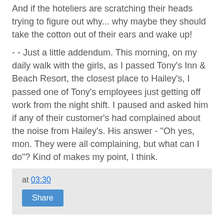And if the hoteliers are scratching their heads trying to figure out why... why maybe they should take the cotton out of their ears and wake up!
- - Just a little addendum. This morning, on my daily walk with the girls, as I passed Tony's Inn & Beach Resort, the closest place to Hailey's, I passed one of Tony's employees just getting off work from the night shift. I paused and asked him if any of their customer's had complained about the noise from Hailey's. His answer - "Oh yes, mon. They were all complaining, but what can I do"? Kind of makes my point, I think.
at 03:30
Share
15 comments:
orchis  28/2/10 03:55